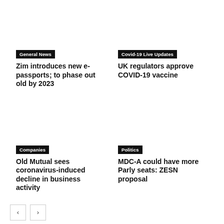General News
Zim introduces new e-passports; to phase out old by 2023
Covid-19 Live Updates
UK regulators approve COVID-19 vaccine
Companies
Old Mutual sees coronavirus-induced decline in business activity
Politics
MDC-A could have more Parly seats: ZESN proposal